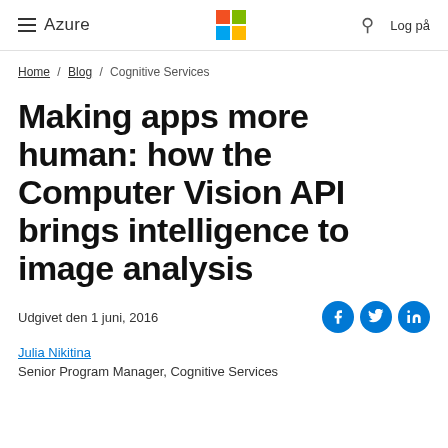≡  Azure  [Microsoft Logo]  🔍  Log på
Home / Blog / Cognitive Services
Making apps more human: how the Computer Vision API brings intelligence to image analysis
Udgivet den 1 juni, 2016
Julia Nikitina
Senior Program Manager, Cognitive Services